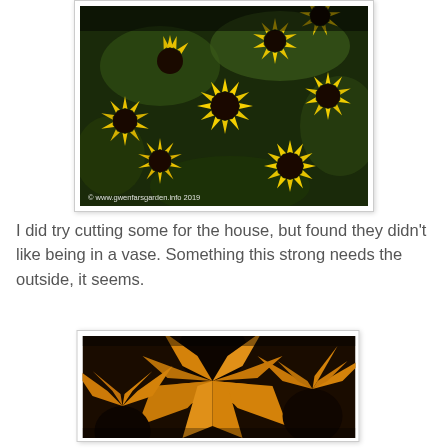[Figure (photo): A cluster of black-eyed Susan (Rudbeckia) flowers with bright yellow petals and dark brown/black centers, photographed outdoors. Watermark reads: © www.gwenfarsgarden.info 2019]
I did try cutting some for the house, but found they didn't like being in a vase. Something this strong needs the outside, it seems.
[Figure (photo): Close-up photograph of black-eyed Susan (Rudbeckia) flowers with orange-yellow petals and large dark black centers, taken from above at close range.]